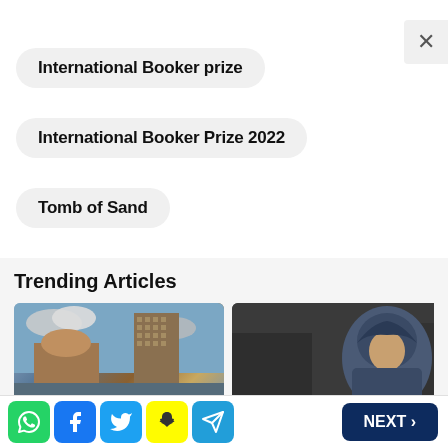International Booker prize
International Booker Prize 2022
Tomb of Sand
Trending Articles
[Figure (photo): Richest states of India in - photo of Mumbai skyline with historic and modern buildings]
Richest states of India in
[Figure (photo): क्या है बिलकिस बानो का पटा - photo of woman in blue headscarf]
क्या है बिलकिस बानो का पटा
[Figure (photo): Wh... - partial photo]
NEXT >